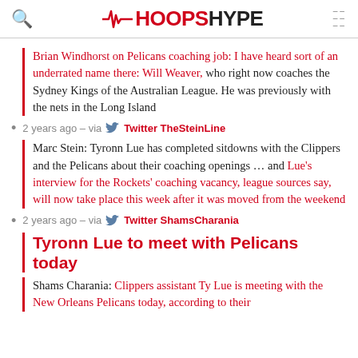HOOPSHYPE
Brian Windhorst on Pelicans coaching job: I have heard sort of an underrated name there: Will Weaver, who right now coaches the Sydney Kings of the Australian League. He was previously with the nets in the Long Island
2 years ago – via Twitter TheSteinLine
Marc Stein: Tyronn Lue has completed sitdowns with the Clippers and the Pelicans about their coaching openings … and Lue's interview for the Rockets' coaching vacancy, league sources say, will now take place this week after it was moved from the weekend
2 years ago – via Twitter ShamsCharania
Tyronn Lue to meet with Pelicans today
Shams Charania: Clippers assistant Ty Lue is meeting with the New Orleans Pelicans today, according to their